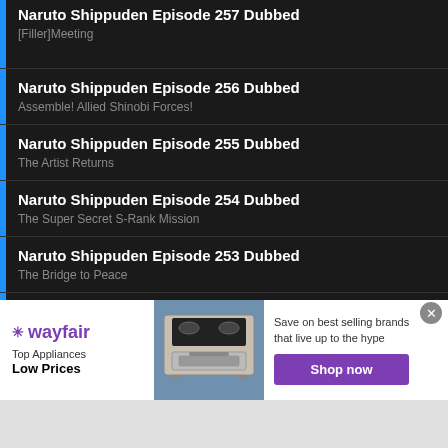Naruto Shippuden Episode 257 Dubbed
[Filler]Meeting
Naruto Shippuden Episode 256 Dubbed
Assemble! Allied Shinobi Forces!
Naruto Shippuden Episode 255 Dubbed
The Artist Returns
Naruto Shippuden Episode 254 Dubbed
The Super Secret S-Rank Mission
Naruto Shippuden Episode 253 Dubbed
The Bridge to Peace
Naruto Shippuden Episode 252 Dubbed
The Angelic Herald of Death
[Figure (screenshot): Wayfair advertisement banner: Top Appliances Low Prices, Save on best selling brands that live up to the hype, Shop now button, with appliance image]